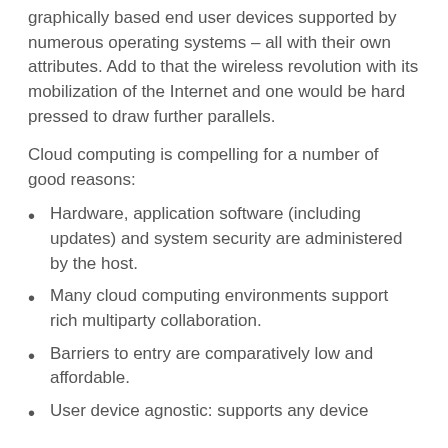graphically based end user devices supported by numerous operating systems – all with their own attributes. Add to that the wireless revolution with its mobilization of the Internet and one would be hard pressed to draw further parallels.
Cloud computing is compelling for a number of good reasons:
Hardware, application software (including updates) and system security are administered by the host.
Many cloud computing environments support rich multiparty collaboration.
Barriers to entry are comparatively low and affordable.
User device agnostic: supports any device